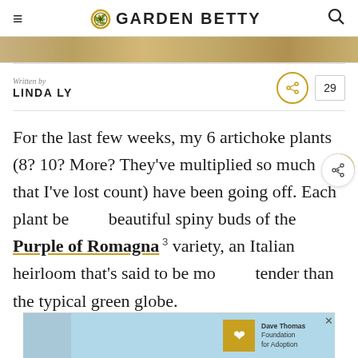GARDEN BETTY
[Figure (photo): Partial view of garden/artichoke image strip at top]
Written by
LINDA LY
For the last few weeks, my 6 artichoke plants (8? 10? More? They've multiplied so much that I've lost count) have been going off. Each plant be beautiful spiny buds of the Purple of Romagna variety, an Italian heirloom that's said to be more tender than the typical green globe.
[Figure (photo): Advertisement banner at bottom with boy, Dave Thomas Foundation for Adoption logo]